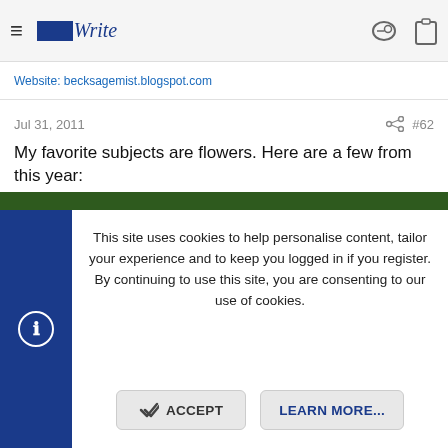MediaWrite logo and navigation bar with hamburger menu, key icon, and clipboard icon
Website: becksagemist.blogspot.com
Jul 31, 2011    #62
My favorite subjects are flowers. Here are a few from this year:
[Figure (photo): Close-up photograph of pink milkweed flowers with white centers clustered together, with a Photobucket watermark reading 'host. store. share.']
This site uses cookies to help personalise content, tailor your experience and to keep you logged in if you register. By continuing to use this site, you are consenting to our use of cookies.
ACCEPT   LEARN MORE...